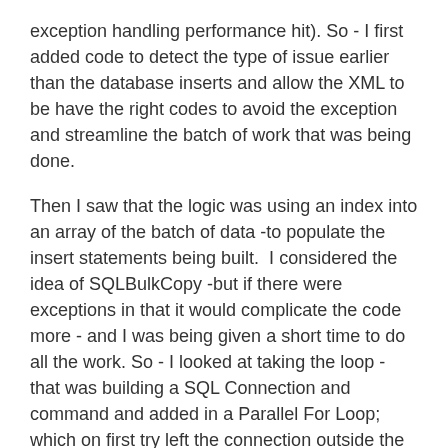exception handling performance hit). So - I first added code to detect the type of issue earlier than the database inserts and allow the XML to be have the right codes to avoid the exception and streamline the batch of work that was being done.
Then I saw that the logic was using an index into an array of the batch of data -to populate the insert statements being built.  I considered the idea of SQLBulkCopy -but if there were exceptions in that it would complicate the code more - and I was being given a short time to do all the work. So - I looked at taking the loop - that was building a SQL Connection and command and added in a Parallel For Loop; which on first try left the connection outside the loop but that was causing connection close exceptions, and I had to move the connection inside the parallel for loop - which is a lambda delegate that can be done in parallel within the .Net framework.
The production processing time frame had been estimated and timed for the old process. One of the errors that was occurring